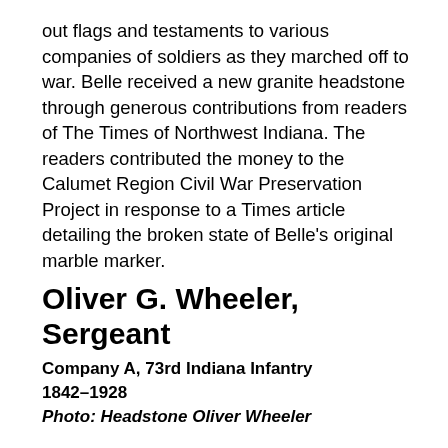out flags and testaments to various companies of soldiers as they marched off to war. Belle received a new granite headstone through generous contributions from readers of The Times of Northwest Indiana. The readers contributed the money to the Calumet Region Civil War Preservation Project in response to a Times article detailing the broken state of Belle's original marble marker.
Oliver G. Wheeler, Sergeant
Company A, 73rd Indiana Infantry
1842–1928
Photo: Headstone Oliver Wheeler